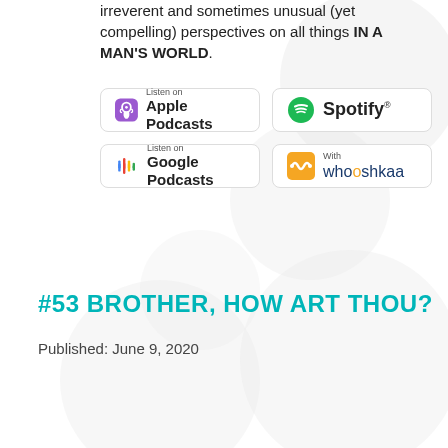irreverent and sometimes unusual (yet compelling) perspectives on all things IN A MAN'S WORLD.
[Figure (logo): Listen on Apple Podcasts badge]
[Figure (logo): Listen on Spotify badge]
[Figure (logo): Listen on Google Podcasts badge]
[Figure (logo): With Whooshkaa badge]
#53 BROTHER, HOW ART THOU?
Published: June 9, 2020